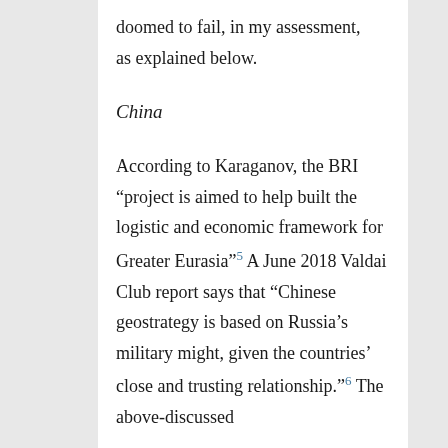doomed to fail, in my assessment, as explained below.
China
According to Karaganov, the BRI “project is aimed to help built the logistic and economic framework for Greater Eurasia”⁵ A June 2018 Valdai Club report says that “Chinese geostrategy is based on Russia’s military might, given the countries’ close and trusting relationship.”⁶ The above-discussed